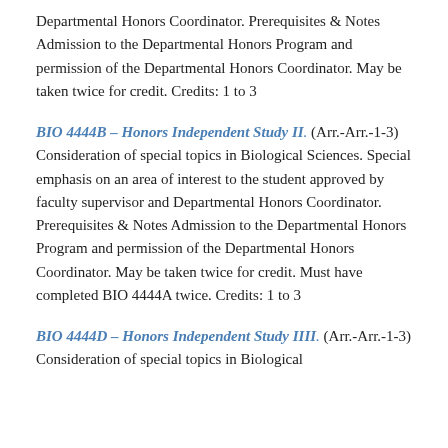Departmental Honors Coordinator. Prerequisites & Notes Admission to the Departmental Honors Program and permission of the Departmental Honors Coordinator. May be taken twice for credit. Credits: 1 to 3
BIO 4444B - Honors Independent Study II. (Arr.-Arr.-1-3) Consideration of special topics in Biological Sciences. Special emphasis on an area of interest to the student approved by faculty supervisor and Departmental Honors Coordinator. Prerequisites & Notes Admission to the Departmental Honors Program and permission of the Departmental Honors Coordinator. May be taken twice for credit. Must have completed BIO 4444A twice. Credits: 1 to 3
BIO 4444D - Honors Independent Study IIII. (Arr.-Arr.-1-3) Consideration of special topics in Biological